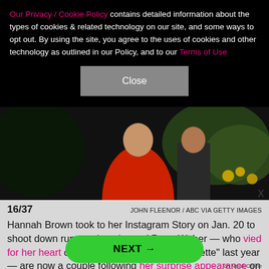Our Privacy / Cookie Policy contains detailed information about the types of cookies & related technology on our site, and some ways to opt out. By using the site, you agree to the uses of cookies and other technology as outlined in our Policy, and to our Terms of Use
Close
[Figure (photo): Photo of a woman in a red dress and a man in a suit outdoors with flowers in the background]
16/37   JOHN FLEENOR / ABC VIA GETTY IMAGES
Hannah Brown took to her Instagram Story on Jan. 20 to shoot down rumors that she and Peter Weber — who vied for her heart on season 15 of "The Bachelorette" last year — are now a couple following her surprise appearance on the first two episodes of season 24 of
NEXT →
on Newz Online